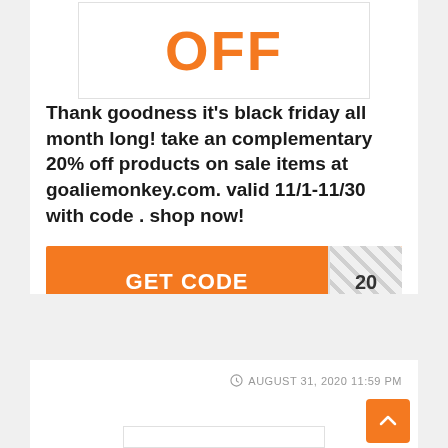[Figure (other): Orange OFF text banner in a bordered box]
Thank goodness it's black friday all month long! take an complementary 20% off products on sale items at goaliemonkey.com. valid 11/1-11/30 with code . shop now!
[Figure (other): Orange GET CODE button with striped reveal panel showing '20']
Expired but feel free to try
AUGUST 31, 2020 11:59 PM
[Figure (other): Orange scroll-to-top button with upward arrow]
[Figure (other): Bottom bordered box placeholder]